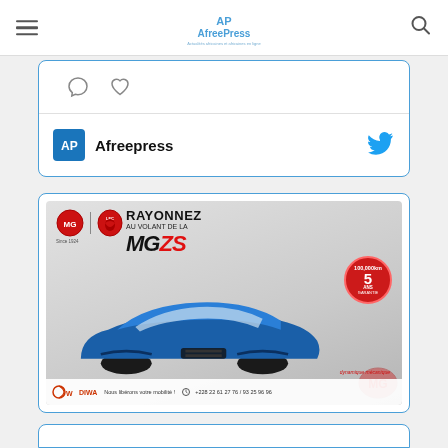AfreePress
[Figure (screenshot): Partial Twitter/social media card showing Afreepress account with comment and like icons, a horizontal divider, and the Afreepress profile name with Twitter bird icon]
[Figure (photo): Advertisement for MG ZS car by DIWA dealer. Text: RAYONNEZ AU VOLANT DE LA MGZS. Red badge: 5 ans GARANTIE. Contact: +228 22 61 27 76 / 93 25 96 96. Blue MG ZS SUV shown.]
[Figure (screenshot): Partial bottom card, cut off at page bottom]